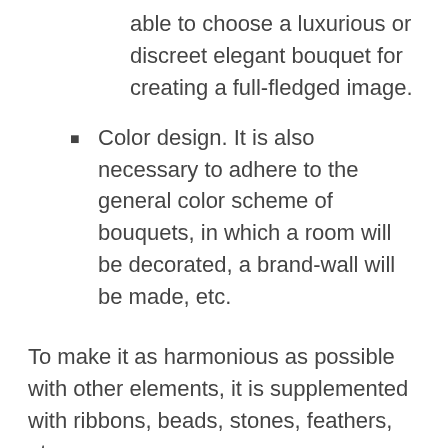able to choose a luxurious or discreet elegant bouquet for creating a full-fledged image.
Color design. It is also necessary to adhere to the general color scheme of bouquets, in which a room will be decorated, a brand-wall will be made, etc.
To make it as harmonious as possible with other elements, it is supplemented with ribbons, beads, stones, feathers, etc.
Buy hawaiian wedding flowers is better with